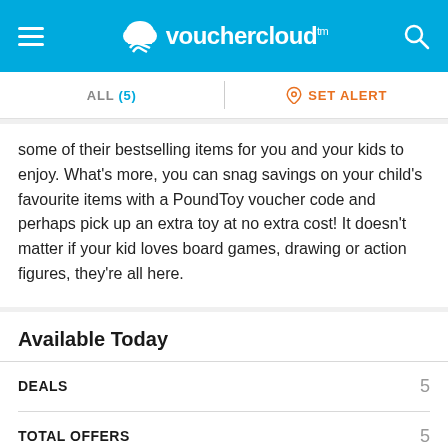vouchercloud
ALL (5)   SET ALERT
some of their bestselling items for you and your kids to enjoy. What's more, you can snag savings on your child's favourite items with a PoundToy voucher code and perhaps pick up an extra toy at no extra cost! It doesn't matter if your kid loves board games, drawing or action figures, they're all here.
Available Today
|  |  |
| --- | --- |
| DEALS | 5 |
| TOTAL OFFERS | 5 |
Popular retailers